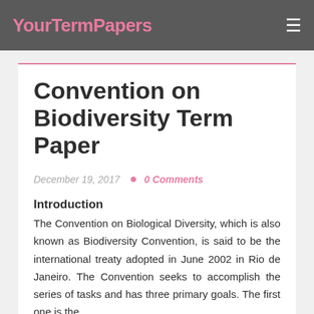YourTermPapers
Convention on Biodiversity Term Paper
December 19, 2017   0 Comments
Introduction
The Convention on Biological Diversity, which is also known as Biodiversity Convention, is said to be the international treaty adopted in June 2002 in Rio de Janeiro. The Convention seeks to accomplish the series of tasks and has three primary goals. The first one is the